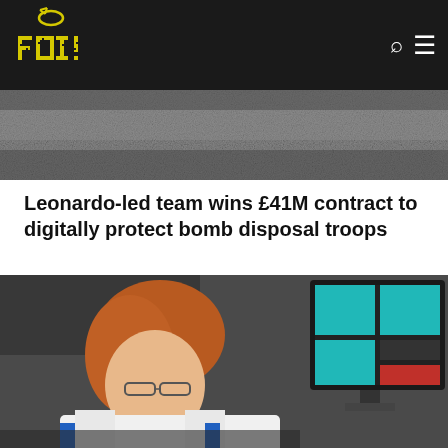[Figure (logo): FOI (Freedom of Information) logo — yellow pixel-art style text 'FOI!' with a grenade graphic, on dark background navigation bar]
[Figure (photo): Grainy dark textured surface — top banner image below navigation]
Leonardo-led team wins £41M contract to digitally protect bomb disposal troops
[Figure (photo): Young person with red hair and glasses wearing a white lab coat, leaning forward, with a computer monitor showing a colorful interface in the background]